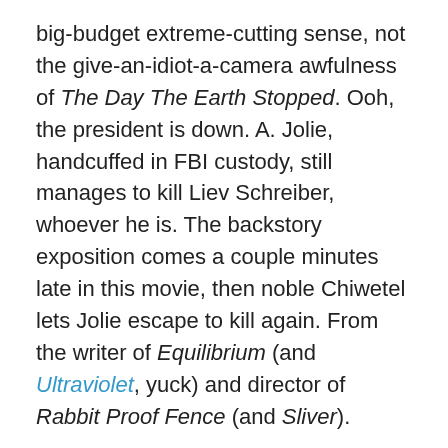big-budget extreme-cutting sense, not the give-an-idiot-a-camera awfulness of The Day The Earth Stopped. Ooh, the president is down. A. Jolie, handcuffed in FBI custody, still manages to kill Liev Schreiber, whoever he is. The backstory exposition comes a couple minutes late in this movie, then noble Chiwetel lets Jolie escape to kill again. From the writer of Equilibrium (and Ultraviolet, yuck) and director of Rabbit Proof Fence (and Sliver).
Red Dragon (2002, Brett Ratner)
Emily Watson is in a super intense burning-house scene, then a big fake explosion knocks down Ed Norton. This movie marked the end of my needing to see everything Norton was in (Keeping the Faith and The Score had already lowered expectations). Ed's in the William Petersen role (WP's on a cop show now). After he and Raiff Fiennes shoot each other to death,